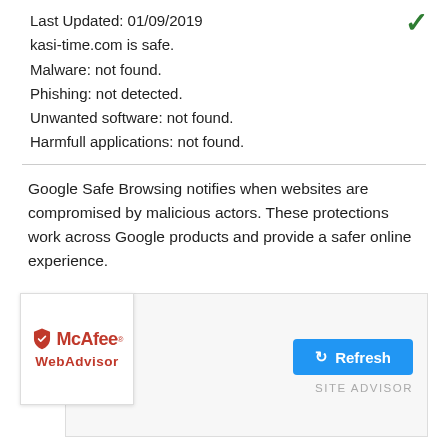Last Updated: 01/09/2019
kasi-time.com is safe.
Malware: not found.
Phishing: not detected.
Unwanted software: not found.
Harmfull applications: not found.
Google Safe Browsing notifies when websites are compromised by malicious actors. These protections work across Google products and provide a safer online experience.
[Figure (logo): McAfee WebAdvisor logo with shield icon in red, showing company name in red bold text]
Refresh
SITE ADVISOR
Last Updated: 02/22/2020
kasi-time.com is safe.